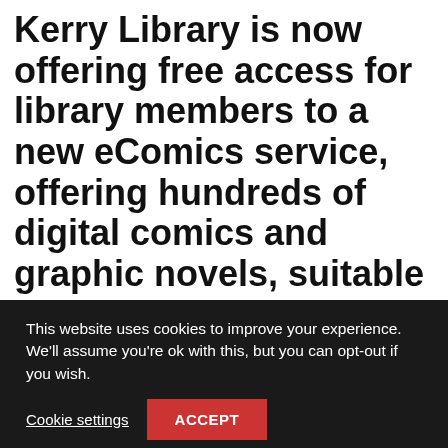Kerry Library is now offering free access for library members to a new eComics service, offering hundreds of digital comics and graphic novels, suitable for all ages.
This website uses cookies to improve your experience. We'll assume you're ok with this, but you can opt-out if you wish.
Cookie settings
ACCEPT